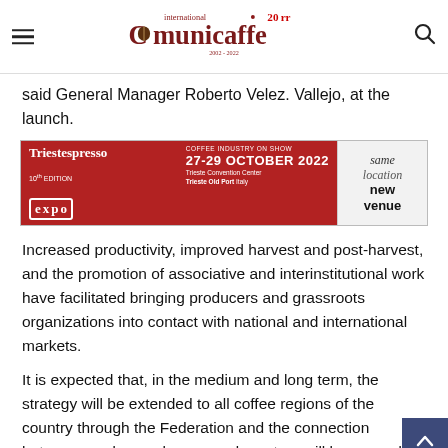international Comunicaffe 20rr 2002-2022
said General Manager Roberto Velez. Vallejo, at the launch.
[Figure (other): Triestespresso Expo advertisement banner. Red background on left with white text: 'Triestespresso expo 10th EDITION COFFEE INDUSTRY ON SHOW 27-29 OCTOBER 2022 Trieste Convention Center Trieste Old Port Italy'. Right side grey/white with italic text: 'same location new venue']
Increased productivity, improved harvest and post-harvest, and the promotion of associative and interinstitutional work have facilitated bringing producers and grassroots organizations into contact with national and international markets.
It is expected that, in the medium and long term, the strategy will be extended to all coffee regions of the country through the Federation and the connection between producers, buyers and roasters will be expanded